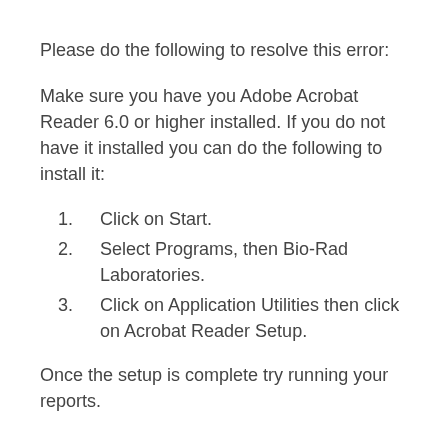Please do the following to resolve this error:
Make sure you have you Adobe Acrobat Reader 6.0 or higher installed. If you do not have it installed you can do the following to install it:
1. Click on Start.
2. Select Programs, then Bio-Rad Laboratories.
3. Click on Application Utilities then click on Acrobat Reader Setup.
Once the setup is complete try running your reports.